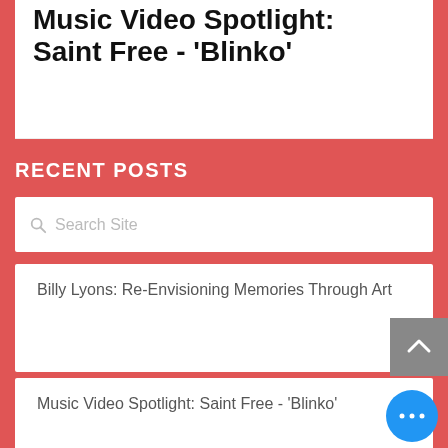Music Video Spotlight: Saint Free - 'Blinko'
RECENT POSTS
Search Site
Billy Lyons: Re-Envisioning Memories Through Art
Music Video Spotlight: Saint Free - 'Blinko'